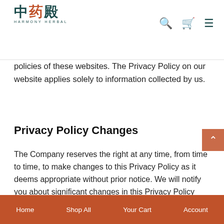Harmony Herbal - navigation header with logo, search, cart, and menu icons
policies of these websites. The Privacy Policy on our website applies solely to information collected by us.
Privacy Policy Changes
The Company reserves the right at any time, from time to time, to make changes to this Privacy Policy as it deems appropriate without prior notice. We will notify you about significant changes in this Privacy Policy through a suitable announcement on our website.
Home   Shop All   Your Cart   Account